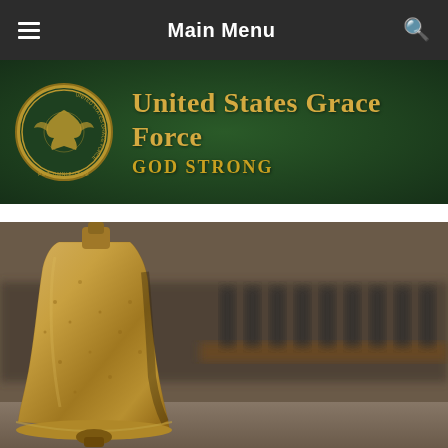Main Menu
[Figure (logo): United States Grace Force banner logo with seal on dark green leather-textured background. Text reads 'United States Grace Force' and 'GOD STRONG'.]
[Figure (photo): Close-up photograph of a weathered brass bell in the foreground with military personnel standing in formation blurred in the background.]